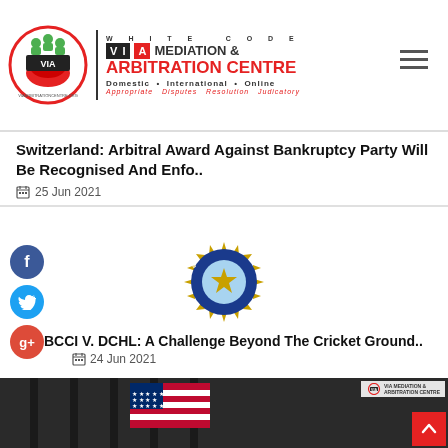[Figure (logo): VIA White Code Mediation & Arbitration Centre logo with red handshake emblem, text 'WHITE CODE VIA MEDIATION & ARBITRATION CENTRE Domestic International Online Appropriate Disputes Resolution Judicatory']
Switzerland: Arbitral Award Against Bankruptcy Party Will Be Recognised And Enfo..
25 Jun 2021
[Figure (logo): BCCI cricket board logo - blue circular badge with gold star and sunburst border]
BCCI V. DCHL: A Challenge Beyond The Cricket Ground..
24 Jun 2021
[Figure (photo): Photo of tall building with large American flag draped on facade, dark urban street scene]